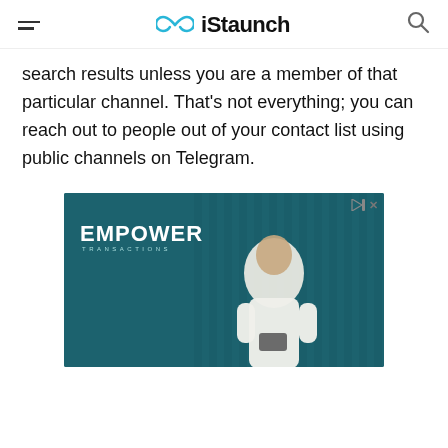iStaunch
search results unless you are a member of that particular channel. That’s not everything; you can reach out to people out of your contact list using public channels on Telegram.
[Figure (photo): Advertisement banner for Empower Transactions showing a man in a white shirt looking at his phone against a teal background.]